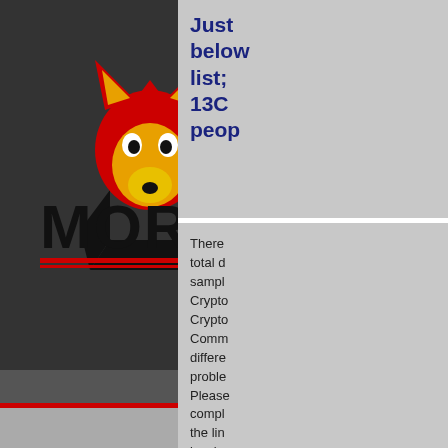[Figure (logo): Moretti logo featuring a red wolf head above stylized black MORETTI text with yellow and red horizontal bars, on a dark background]
Just below list; 13C people
There total d sampl Crypto Crypto Comm differe proble Please compl the lin level; respe origina FREE aquife